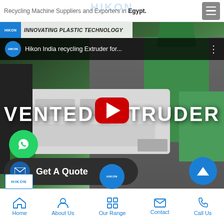Recycling Machine Suppliers and Exporters in Egypt.
[Figure (screenshot): YouTube video thumbnail showing a Hikon India recycling Vented Extruder machine with green hopper, white extruder body, in an industrial setting. Title bar reads 'Hikon India recycling Extruder for...' with play button overlay and text 'VENTED EXTRUDER'. WhatsApp button and 'Get A Quote' button overlay on bottom left.]
Home  About Us  Our Range  Contact  Call Us